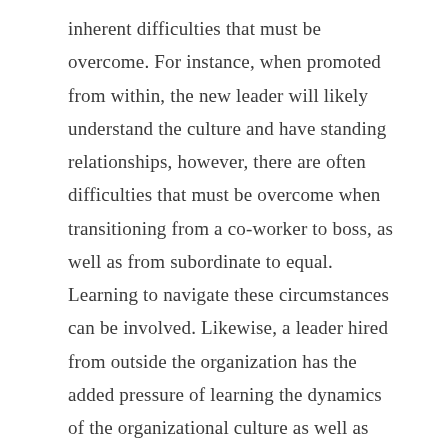inherent difficulties that must be overcome. For instance, when promoted from within, the new leader will likely understand the culture and have standing relationships, however, there are often difficulties that must be overcome when transitioning from a co-worker to boss, as well as from subordinate to equal. Learning to navigate these circumstances can be involved. Likewise, a leader hired from outside the organization has the added pressure of learning the dynamics of the organizational culture as well as positioning him/herself as a leader, assessing the team and quickly building relationships with them.
When your recipe for leadership development